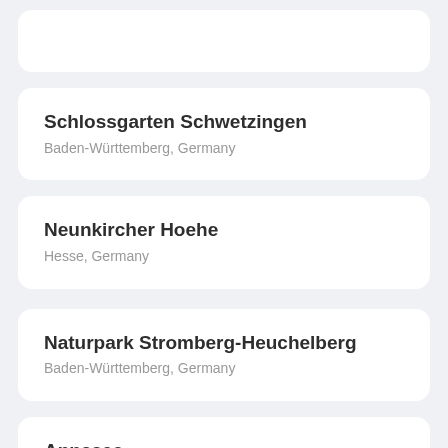Schlossgarten Schwetzingen
Baden-Württemberg, Germany
Neunkircher Hoehe
Hesse, Germany
Naturpark Stromberg-Heuchelberg
Baden-Württemberg, Germany
Annasee
Baden-Württemberg, Germany